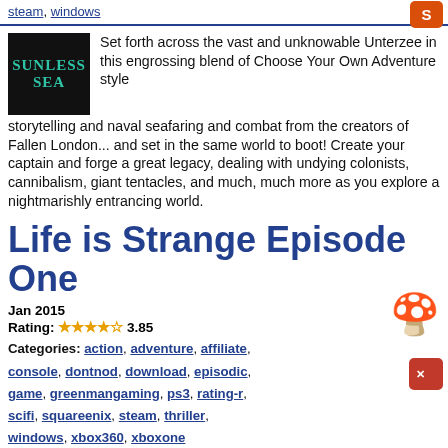steam, windows
[Figure (logo): Sunless Sea game logo: black background with teal text reading SUNLESS SEA]
Set forth across the vast and unknowable Unterzee in this engrossing blend of Choose Your Own Adventure style storytelling and naval seafaring and combat from the creators of Fallen London... and set in the same world to boot! Create your captain and forge a great legacy, dealing with undying colonists, cannibalism, giant tentacles, and much, much more as you explore a nightmarishly entrancing world.
Life is Strange Episode One
Jan 2015
Rating: 3.85
Categories: action, adventure, affiliate, console, dontnod, download, episodic, game, greenmangaming, ps3, rating-r, scifi, squareenix, steam, thriller, windows, xbox360, xboxone
[Figure (illustration): Life is Strange game thumbnail image]
Max is struggling to adapt to life back in